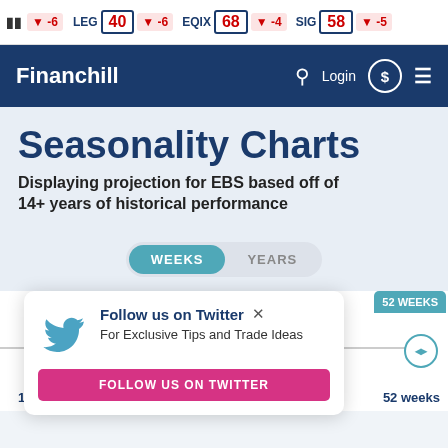Ticker: LEG 40 -6, EQIX 68 -4, SIG 58 -5
[Figure (logo): Financhill website navigation bar with logo, search, login, and menu icons]
Seasonality Charts
Displaying projection for EBS based off of 14+ years of historical performance
WEEKS  YEARS (toggle buttons)
[Figure (infographic): Twitter follow popup overlay: Follow us on Twitter - For Exclusive Tips and Trade Ideas - FOLLOW US ON TWITTER button]
1 weeks   26 weeks   52 weeks